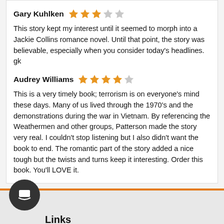Gary Kuhlken — 3 out of 5 stars
This story kept my interest until it seemed to morph into a Jackie Collins romance novel. Until that point, the story was believable, especially when you consider today's headlines. gk
Audrey Williams — 4 out of 5 stars
This is a very timely book; terrorism is on everyone's mind these days. Many of us lived through the 1970's and the demonstrations during the war in Vietnam. By referencing the Weathermen and other groups, Patterson made the story very real. I couldn't stop listening but I also didn't want the book to end. The romantic part of the story added a nice tough but the twists and turns keep it interesting. Order this book. You'll LOVE it.
Links